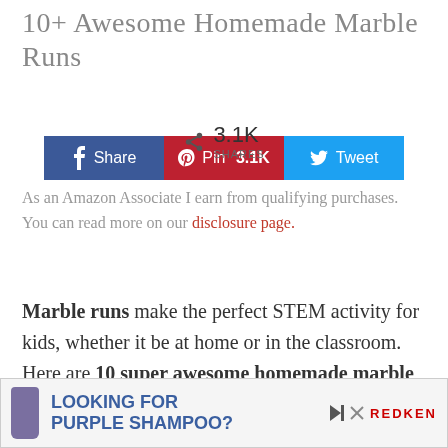10+ Awesome Homemade Marble Runs
[Figure (infographic): Social share buttons: Facebook Share button (blue), Pinterest Pin 3.1K button (red), Twitter Tweet button (light blue), and a share count showing 3.1K SHARES]
As an Amazon Associate I earn from qualifying purchases. You can read more on our disclosure page.
Marble runs make the perfect STEM activity for kids, whether it be at home or in the classroom. Here are 10 super awesome homemade marble runs to get you started!
[Figure (infographic): Advertisement banner: Looking for Purple Shampoo? Redken ad with purple shampoo bottle image]